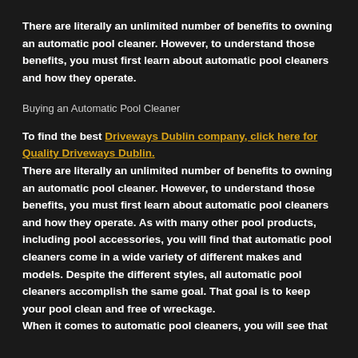There are literally an unlimited number of benefits to owning an automatic pool cleaner. However, to understand those benefits, you must first learn about automatic pool cleaners and how they operate.
Buying an Automatic Pool Cleaner
To find the best Driveways Dublin company, click here for Quality Driveways Dublin. There are literally an unlimited number of benefits to owning an automatic pool cleaner. However, to understand those benefits, you must first learn about automatic pool cleaners and how they operate. As with many other pool products, including pool accessories, you will find that automatic pool cleaners come in a wide variety of different makes and models. Despite the different styles, all automatic pool cleaners accomplish the same goal. That goal is to keep your pool clean and free of wreckage.
When it comes to automatic pool cleaners, you will see that